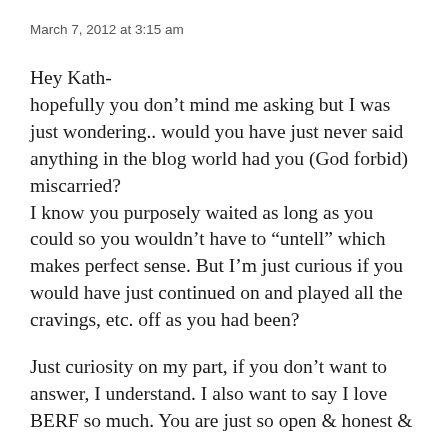March 7, 2012 at 3:15 am
Hey Kath-
hopefully you don’t mind me asking but I was just wondering.. would you have just never said anything in the blog world had you (God forbid) miscarried?
I know you purposely waited as long as you could so you wouldn’t have to “untell” which makes perfect sense. But I’m just curious if you would have just continued on and played all the cravings, etc. off as you had been?
Just curiosity on my part, if you don’t want to answer, I understand. I also want to say I love BERF so much. You are just so open & honest &